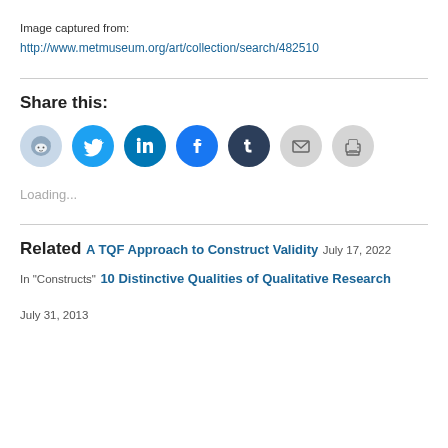Image captured from:
http://www.metmuseum.org/art/collection/search/482510
Share this:
[Figure (illustration): Row of social sharing icon buttons: Reddit, Twitter, LinkedIn, Facebook, Tumblr, Email, Print]
Loading...
Related
A TQF Approach to Construct Validity
July 17, 2022
In "Constructs"
10 Distinctive Qualities of Qualitative Research
July 31, 2013